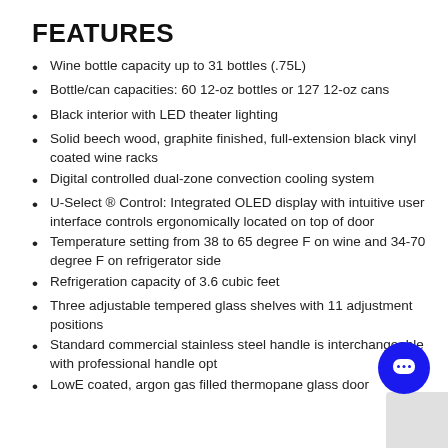FEATURES
Wine bottle capacity up to 31 bottles (.75L)
Bottle/can capacities: 60 12-oz bottles or 127 12-oz cans
Black interior with LED theater lighting
Solid beech wood, graphite finished, full-extension black vinyl coated wine racks
Digital controlled dual-zone convection cooling system
U-Select ® Control: Integrated OLED display with intuitive user interface controls ergonomically located on top of door
Temperature setting from 38 to 65 degree F on wine and 34-70 degree F on refrigerator side
Refrigeration capacity of 3.6 cubic feet
Three adjustable tempered glass shelves with 11 adjustment positions
Standard commercial stainless steel handle is interchangeable with professional handle options
LowE coated, argon gas filled thermopane glass door